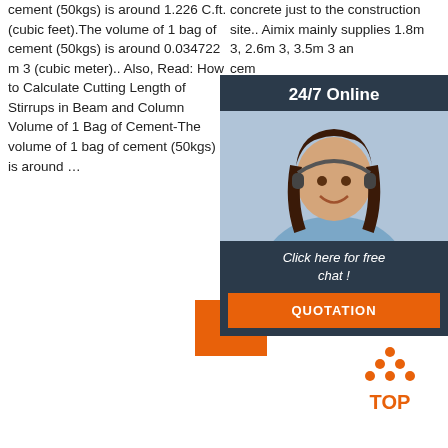cement (50kgs) is around 1.226 C.ft. (cubic feet).The volume of 1 bag of cement (50kgs) is around 0.034722 m 3 (cubic meter).. Also, Read: How to Calculate Cutting Length of Stirrups in Beam and Column Volume of 1 Bag of Cement-The volume of 1 bag of cement (50kgs) is around …
concrete just to the construction site.. Aimix mainly supplies 1.8m 3, 2.6m 3, 3.5m 3 and ... cement ... machine ... The ... load ... usually ...
[Figure (photo): Customer support representative with headset, smiling, overlaid on a dark blue chat widget with '24/7 Online' header and 'Click here for free chat!' text and QUOTATION button]
Get Price (button)
[Figure (other): TOP icon with orange dots arranged in a triangle above the word TOP in orange text]